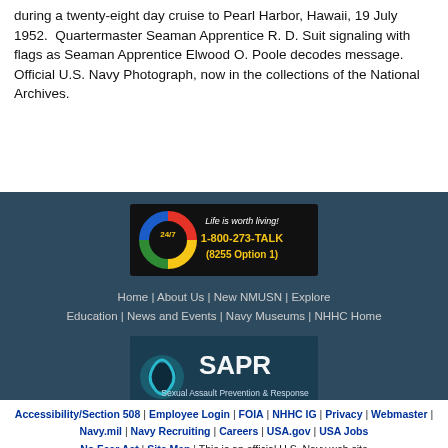during a twenty-eight day cruise to Pearl Harbor, Hawaii, 19 July 1952.  Quartermaster Seaman Apprentice R. D. Suit signaling with flags as Seaman Apprentice Elwood O. Poole decodes message.    Official U.S. Navy Photograph, now in the collections of the National Archives.
[Figure (other): Hotline banner: Life is worth living! 24/7 1-800-273-TALK (8255 Option 1) with life preserver ring graphic in red, yellow, green, blue]
Home | About Us | New NMUSN | Explore Education | News and Events | Navy Museums | NHHC Home
[Figure (other): SAPR - Sexual Assault Prevention & Response banner with teal ribbon logo on dark blue background]
Accessibility/Section 508 | Employee Login | FOIA | NHHC IG | Privacy | Webmaster | Navy.mil | Navy Recruiting | Careers | USA.gov | USA Jobs No Fear Act | Site Map | This is an official U.S. Navy web site